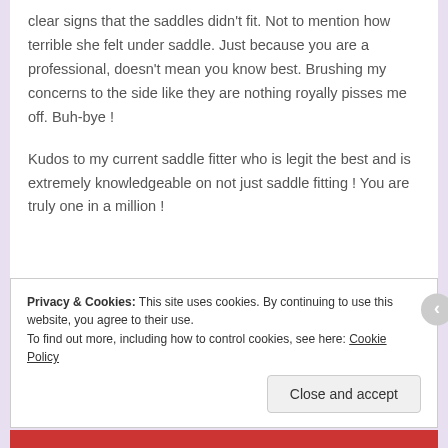clear signs that the saddles didn't fit. Not to mention how terrible she felt under saddle. Just because you are a professional, doesn't mean you know best. Brushing my concerns to the side like they are nothing royally pisses me off. Buh-bye !
Kudos to my current saddle fitter who is legit the best and is extremely knowledgeable on not just saddle fitting ! You are truly one in a million !
Privacy & Cookies: This site uses cookies. By continuing to use this website, you agree to their use.
To find out more, including how to control cookies, see here: Cookie Policy
Close and accept